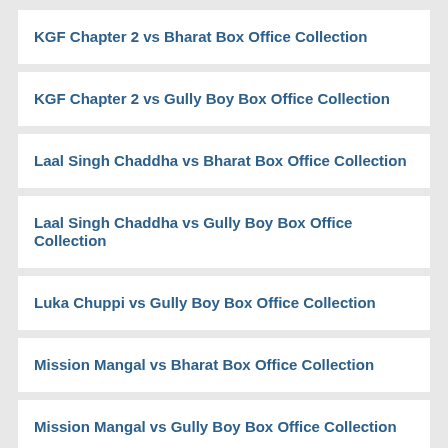KGF Chapter 2 vs Bharat Box Office Collection
KGF Chapter 2 vs Gully Boy Box Office Collection
Laal Singh Chaddha vs Bharat Box Office Collection
Laal Singh Chaddha vs Gully Boy Box Office Collection
Luka Chuppi vs Gully Boy Box Office Collection
Mission Mangal vs Bharat Box Office Collection
Mission Mangal vs Gully Boy Box Office Collection
Pati Patni Aur Woh vs Bharat Box Office Collection
Pati Patni Aur Woh vs Gully Boy Box Office Collection
Pushpa: The Rise (Part 1) vs Bharat Box Office Collection